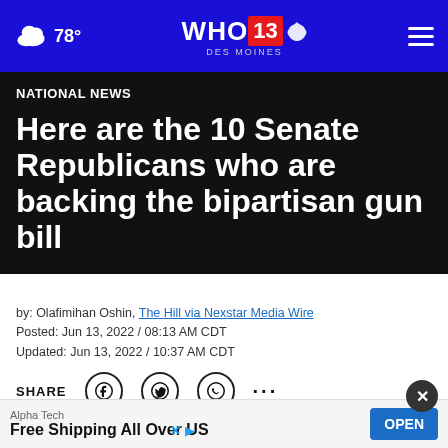78° WHO 13 DES MOINES
NATIONAL NEWS
Here are the 10 Senate Republicans who are backing the bipartisan gun bill
by: Olafimihan Oshin, The Hill via Nexstar Media Wire
Posted: Jun 13, 2022 / 08:13 AM CDT
Updated: Jun 13, 2022 / 10:37 AM CDT
SHARE
(The Hill) — A bipartisan group of senators announced a deal... across a
Alpha Tech
Free Shipping All Over US
OPEN